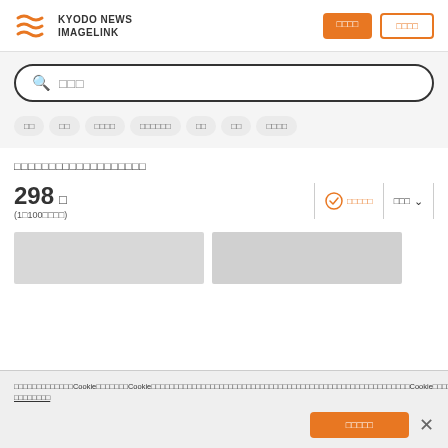[Figure (logo): Kyodo News Imagelink logo with orange wave icon and text]
□□□□ (filled orange button)
□□□□ (outline orange button)
□□□ (search placeholder)
□□
□□
□□□□
□□□□□□
□□
□□
□□□□
□□□□□□□□□□□□□□□□□□□
298 □ (1□100□□□□)
□□□□□ (sort label)
□□□ (sort dropdown)
□□□□□□□□□□□Cookie□□□□□□□Cookie□□□□□□□□□□□□□□□□□□□□□□□□□□□□□□□□□□□□□□□□□□□□□□□□□Cookie□□□□□□□□□□□□□□□□□□ □□□□□□□□
□□□□□ (accept cookie button)